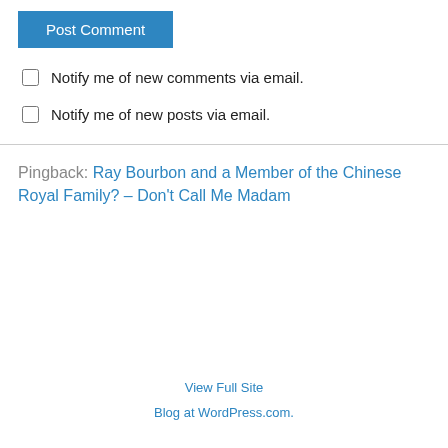Post Comment
Notify me of new comments via email.
Notify me of new posts via email.
Pingback: Ray Bourbon and a Member of the Chinese Royal Family? – Don't Call Me Madam
View Full Site
Blog at WordPress.com.